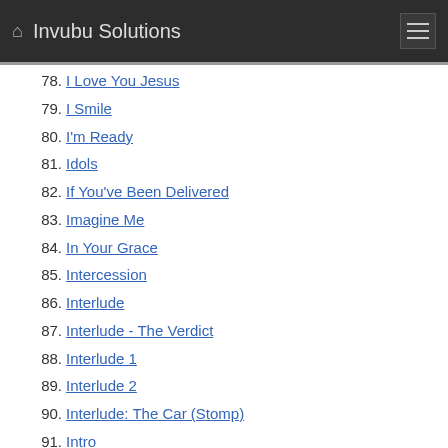Invubu Solutions
78. I Love You Jesus
79. I Smile
80. I'm Ready
81. Idols
82. If You've Been Delivered
83. Imagine Me
84. In Your Grace
85. Intercession
86. Interlude
87. Interlude - The Verdict
88. Interlude 1
89. Interlude 2
90. Interlude: The Car (Stomp)
91. Intro
92. It Would Take All Day
93. It's Rainin'
94. It's Time
95. Jesus